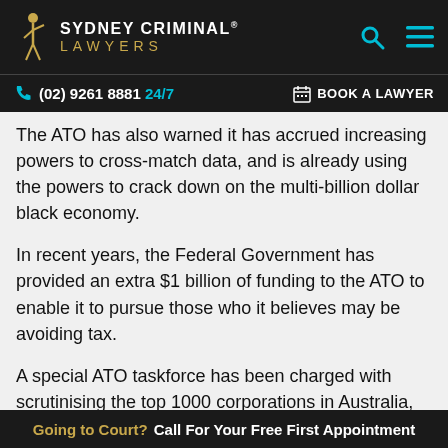SYDNEY CRIMINAL® LAWYERS
(02) 9261 8881 24/7  BOOK A LAWYER
The ATO has also warned it has accrued increasing powers to cross-match data, and is already using the powers to crack down on the multi-billion dollar black economy.
In recent years, the Federal Government has provided an extra $1 billion of funding to the ATO to enable it to pursue those who it believes may be avoiding tax.
A special ATO taskforce has been charged with scrutinising the top 1000 corporations in Australia, along with 320 private groups and wealthy individuals.
Going to Court? Call For Your Free First Appointment